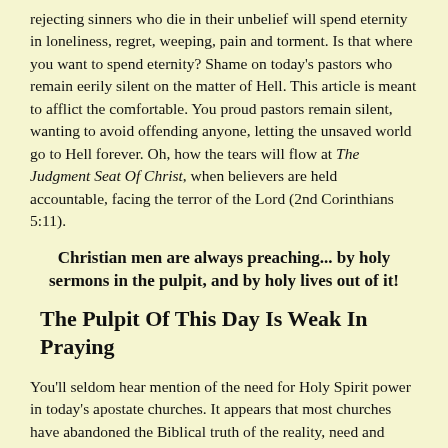rejecting sinners who die in their unbelief will spend eternity in loneliness, regret, weeping, pain and torment. Is that where you want to spend eternity? Shame on today's pastors who remain eerily silent on the matter of Hell. This article is meant to afflict the comfortable. You proud pastors remain silent, wanting to avoid offending anyone, letting the unsaved world go to Hell forever. Oh, how the tears will flow at The Judgment Seat Of Christ, when believers are held accountable, facing the terror of the Lord (2nd Corinthians 5:11).
Christian men are always preaching... by holy sermons in the pulpit, and by holy lives out of it!
The Pulpit Of This Day Is Weak In Praying
You'll seldom hear mention of the need for Holy Spirit power in today's apostate churches. It appears that most churches have abandoned the Biblical truth of the reality, need and importance of the power of the Holy Spirit in all that we do. Jesus plainly said in John